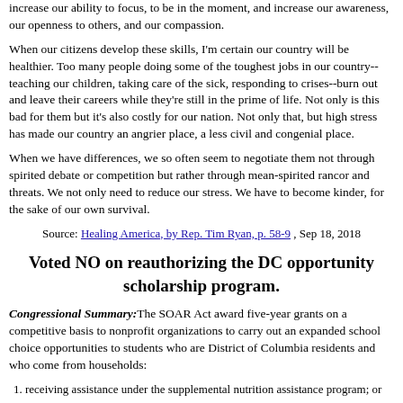increase our ability to focus, to be in the moment, and increase our awareness, our openness to others, and our compassion.
When our citizens develop these skills, I'm certain our country will be healthier. Too many people doing some of the toughest jobs in our country--teaching our children, taking care of the sick, responding to crises--burn out and leave their careers while they're still in the prime of life. Not only is this bad for them but it's also costly for our nation. Not only that, but high stress has made our country an angrier place, a less civil and congenial place.
When we have differences, we so often seem to negotiate them not through spirited debate or competition but rather through mean-spirited rancor and threats. We not only need to reduce our stress. We have to become kinder, for the sake of our own survival.
Source: Healing America, by Rep. Tim Ryan, p. 58-9 , Sep 18, 2018
Voted NO on reauthorizing the DC opportunity scholarship program.
Congressional Summary: The SOAR Act award five-year grants on a competitive basis to nonprofit organizations to carry out an expanded school choice opportunities to students who are District of Columbia residents and who come from households:
receiving assistance under the supplemental nutrition assistance program; or
with incomes not exceeding 185% of the poverty line.
Provides funds to the Mayor of DC, if the Mayor agrees to specified